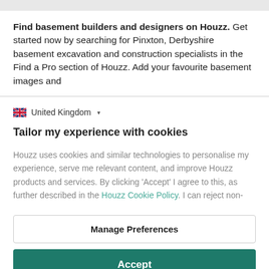Find basement builders and designers on Houzz. Get started now by searching for Pinxton, Derbyshire basement excavation and construction specialists in the Find a Pro section of Houzz. Add your favourite basement images and
United Kingdom ▾
Tailor my experience with cookies
Houzz uses cookies and similar technologies to personalise my experience, serve me relevant content, and improve Houzz products and services. By clicking 'Accept' I agree to this, as further described in the Houzz Cookie Policy. I can reject non-
Manage Preferences
Accept